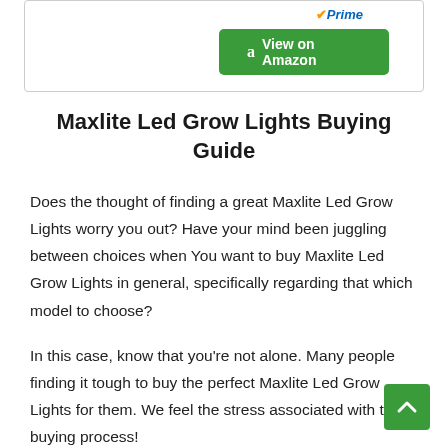[Figure (screenshot): Amazon Prime badge and green 'View on Amazon' button inside a bordered box]
Maxlite Led Grow Lights Buying Guide
Does the thought of finding a great Maxlite Led Grow Lights worry you out? Have your mind been juggling between choices when You want to buy Maxlite Led Grow Lights in general, specifically regarding that which model to choose?
In this case, know that you're not alone. Many people finding it tough to buy the perfect Maxlite Led Grow Lights for them. We feel the stress associated with the buying process!